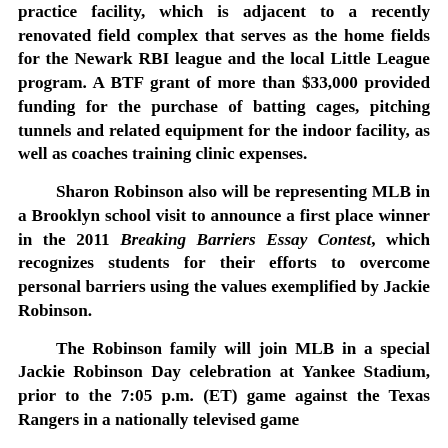practice facility, which is adjacent to a recently renovated field complex that serves as the home fields for the Newark RBI league and the local Little League program. A BTF grant of more than $33,000 provided funding for the purchase of batting cages, pitching tunnels and related equipment for the indoor facility, as well as coaches training clinic expenses.
Sharon Robinson also will be representing MLB in a Brooklyn school visit to announce a first place winner in the 2011 Breaking Barriers Essay Contest, which recognizes students for their efforts to overcome personal barriers using the values exemplified by Jackie Robinson.
The Robinson family will join MLB in a special Jackie Robinson Day celebration at Yankee Stadium, prior to the 7:05 p.m. (ET) game against the Texas Rangers in a nationally televised game